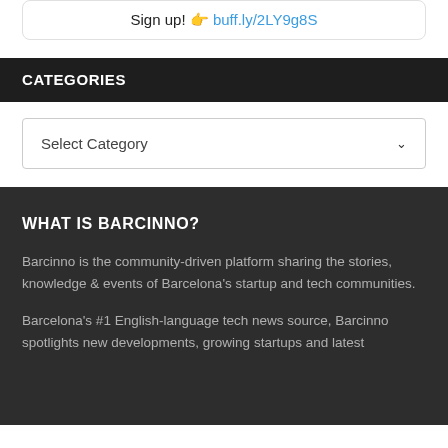Sign up! 👉 buff.ly/2LY9g8S
CATEGORIES
Select Category
WHAT IS BARCINNO?
Barcinno is the community-driven platform sharing the stories, knowledge & events of Barcelona's startup and tech communities.
Barcelona's #1 English-language tech news source, Barcinno spotlights new developments, growing startups and latest